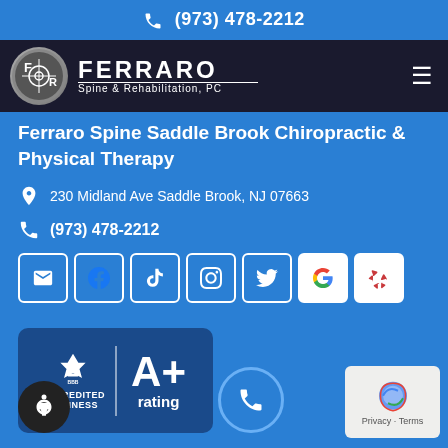(973) 478-2212
[Figure (logo): Ferraro Spine & Rehabilitation, PC logo with circular emblem and navigation hamburger menu]
Ferraro Spine Saddle Brook Chiropractic & Physical Therapy
230 Midland Ave Saddle Brook, NJ 07663
(973) 478-2212
[Figure (infographic): Row of 7 social media / contact icon buttons: email, Facebook, TikTok, Instagram, Twitter, Google, Yelp]
[Figure (logo): BBB Accredited Business A+ rating badge]
[Figure (infographic): Accessibility button (wheelchair icon), phone call FAB button, and Google privacy/terms badge]